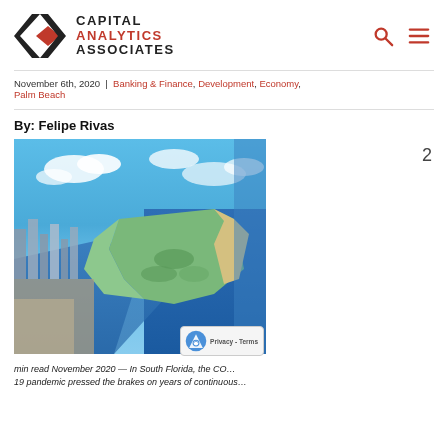CAPITAL ANALYTICS ASSOCIATES
November 6th, 2020 | Banking & Finance, Development, Economy, Palm Beach
By: Felipe Rivas
[Figure (photo): Aerial photograph of South Florida coastline showing waterways, barrier islands, and city skyline under blue sky]
min read November 2020 — In South Florida, the CO… 19 pandemic pressed the brakes on years of continuous…